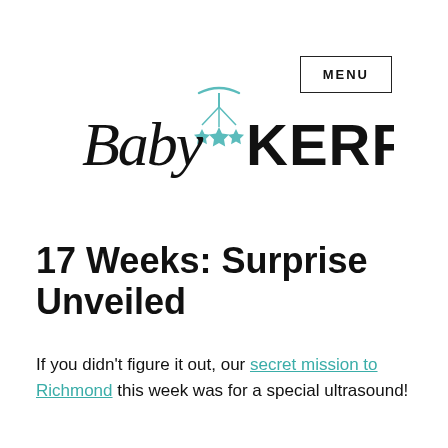MENU
[Figure (logo): Baby KERF blog logo with cursive 'Baby' text and bold 'KERF' text, with a teal baby mobile icon above]
17 Weeks: Surprise Unveiled
If you didn't figure it out, our secret mission to Richmond this week was for a special ultrasound!